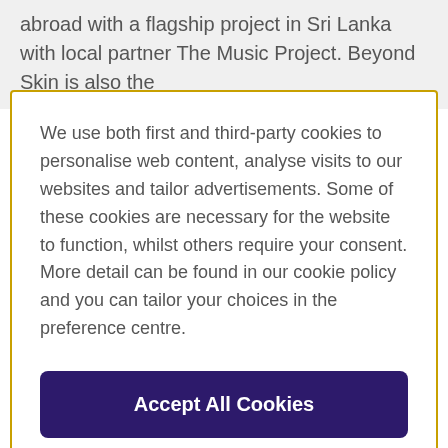abroad with a flagship project in Sri Lanka with local partner The Music Project. Beyond Skin is also the
We use both first and third-party cookies to personalise web content, analyse visits to our websites and tailor advertisements. Some of these cookies are necessary for the website to function, whilst others require your consent. More detail can be found in our cookie policy and you can tailor your choices in the preference centre.
Accept All Cookies
Cookies Settings